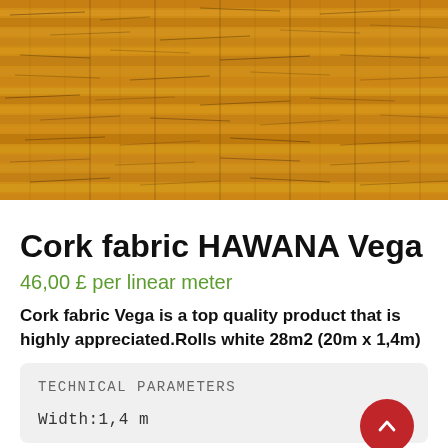[Figure (photo): Close-up photo of cork fabric texture showing golden-brown cork material with natural grain patterns and dark linear markings]
Cork fabric HAWANA Vega
46,00 £ per linear meter
Cork fabric Vega is a top quality product that is highly appreciated.Rolls white 28m2 (20m x 1,4m)
TECHNICAL PARAMETERS
Width:1,4 m